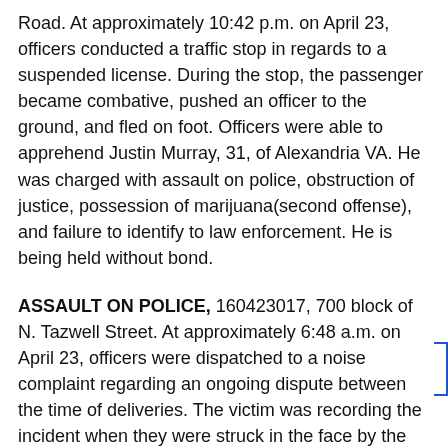Road. At approximately 10:42 p.m. on April 23, officers conducted a traffic stop in regards to a suspended license. During the stop, the passenger became combative, pushed an officer to the ground, and fled on foot. Officers were able to apprehend Justin Murray, 31, of Alexandria VA. He was charged with assault on police, obstruction of justice, possession of marijuana(second offense), and failure to identify to law enforcement. He is being held without bond.
ASSAULT ON POLICE, 160423017, 700 block of N. Tazwell Street. At approximately 6:48 a.m. on April 23, officers were dispatched to a noise complaint regarding an ongoing dispute between the time of deliveries. The victim was recording the incident when they were struck in the face by the subject. The subject became combative when officers arrived on scene but subsequently was taken into custody. Roderick Watt, 41, of Wilkes Barre Pa, was charged with assault on police (2 counts),obstruction of justice, and assault and battery. He was held on a secured bond